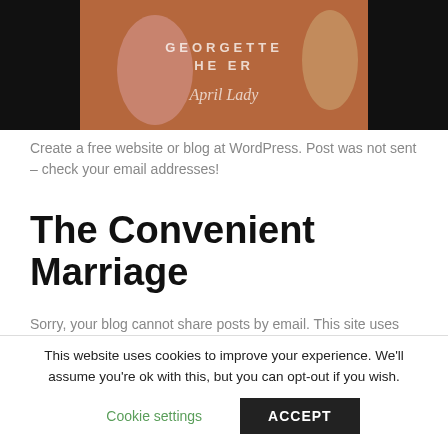[Figure (photo): Book cover image showing 'April Lady' by Georgette Heyer, with decorative figures and title text visible]
Create a free website or blog at WordPress. Post was not sent – check your email addresses!
The Convenient Marriage
Sorry, your blog cannot share posts by email. This site uses cookies. By continuing to use this
This website uses cookies to improve your experience. We'll assume you're ok with this, but you can opt-out if you wish.
Cookie settings   ACCEPT